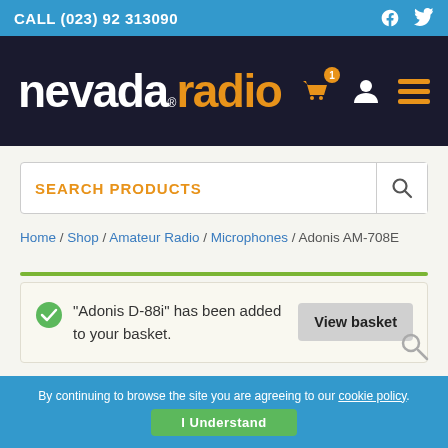CALL (023) 92 313090
[Figure (logo): Nevada Radio logo with white 'nevada' and orange 'radio' text on dark background, with basket, user, and menu icons]
SEARCH PRODUCTS
Home / Shop / Amateur Radio / Microphones / Adonis AM-708E
“Adonis D-88i” has been added to your basket.
View basket
By continuing to browse the site you are agreeing to our cookie policy.
I Understand